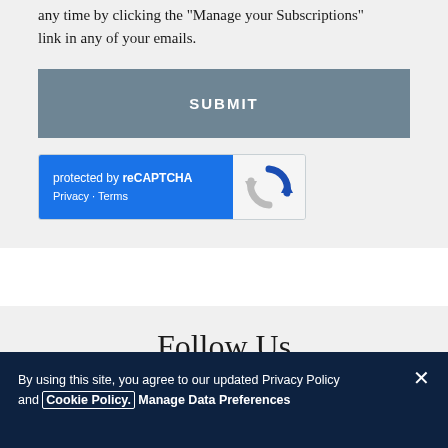any time by clicking the "Manage your Subscriptions" link in any of your emails.
SUBMIT
[Figure (other): reCAPTCHA widget with blue left panel showing 'protected by reCAPTCHA' and 'Privacy - Terms' links, and gray right panel with reCAPTCHA logo]
Follow Us
By using this site, you agree to our updated Privacy Policy and Cookie Policy. Manage Data Preferences